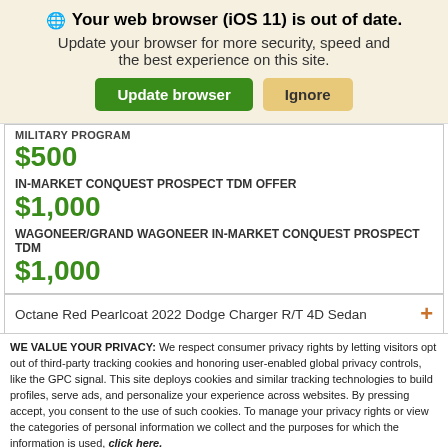🌐 Your web browser (iOS 11) is out of date. Update your browser for more security, speed and the best experience on this site.
MILITARY PROGRAM
$500
IN-MARKET CONQUEST PROSPECT TDM OFFER
$1,000
WAGONEER/GRAND WAGONEER IN-MARKET CONQUEST PROSPECT TDM
$1,000
Octane Red Pearlcoat 2022 Dodge Charger R/T 4D Sedan
WE VALUE YOUR PRIVACY: We respect consumer privacy rights by letting visitors opt out of third-party tracking cookies and honoring user-enabled global privacy controls, like the GPC signal. This site deploys cookies and similar tracking technologies to build profiles, serve ads, and personalize your experience across websites. By pressing accept, you consent to the use of such cookies. To manage your privacy rights or view the categories of personal information we collect and the purposes for which the information is used, click here.
Language: English
Powered by ComplyAuto
Accept and Continue →
Privacy Policy
×